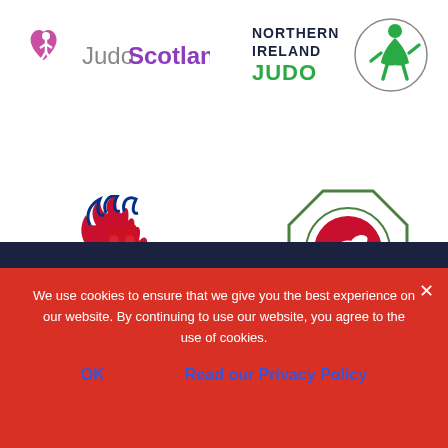[Figure (logo): JudoScotland logo with heart/judo figure icon and text 'JudoScotland' in grey and purple]
[Figure (logo): Northern Ireland Judo logo with text 'NORTHERN IRELAND JUDO' and a stylized judo figure in green]
[Figure (logo): ParalympicsGB lion flame logo with text 'ParalympicsGB' below in grey]
[Figure (logo): Welsh Judo Association / Cymdeithas Judo Cymru circular badge logo with red swan on white circle]
We use cookies to ensure that we give you the best experience on our website. By continuing to use our website, you agree to the use of cookies.
OK
Read our Privacy Policy